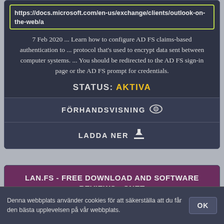https://docs.microsoft.com/en-us/exchange/clients/outlook-on-the-web/a
7 Feb 2020 ... Learn how to configure AD FS claims-based authentication to ... protocol that's used to encrypt data sent between computer systems. ... You should be redirected to the AD FS sign-in page or the AD FS prompt for credentials.
STATUS: AKTIVA
FÖRHANDSVISNING
LADDA NER
LAN.FS - FREE DOWNLOAD AND SOFTWARE REVIEWS - CNET ...
https://download.cnet.com/Lan-Fs/3000-2085_4-10730290.html
Denna webbplats använder cookies för att säkerställa att du får den bästa upplevelsen på vår webbplats.